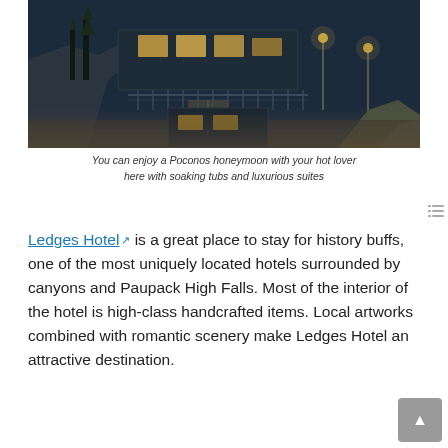[Figure (photo): Aerial/elevated night photograph of Ledges Hotel showing a multi-level wooden deck structure with warm lighting, surrounded by rocky terrain, trees, and canyon-like landscape in the Poconos.]
You can enjoy a Poconos honeymoon with your hot lover here with soaking tubs and luxurious suites
Ledges Hotel [external link] is a great place to stay for history buffs, one of the most uniquely located hotels surrounded by canyons and Paupack High Falls. Most of the interior of the hotel is high-class handcrafted items. Local artworks combined with romantic scenery make Ledges Hotel an attractive destination.